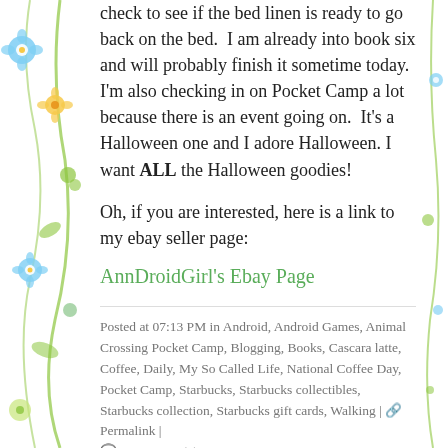check to see if the bed linen is ready to go back on the bed.  I am already into book six and will probably finish it sometime today.  I'm also checking in on Pocket Camp a lot because there is an event going on.  It's a Halloween one and I adore Halloween. I want ALL the Halloween goodies!
Oh, if you are interested, here is a link to my ebay seller page:
AnnDroidGirl's Ebay Page
Posted at 07:13 PM in Android, Android Games, Animal Crossing Pocket Camp, Blogging, Books, Cascara latte, Coffee, Daily, My So Called Life, National Coffee Day, Pocket Camp, Starbucks, Starbucks collectibles, Starbucks collection, Starbucks gift cards, Walking | 🔗 Permalink | 💬 Comments (0)